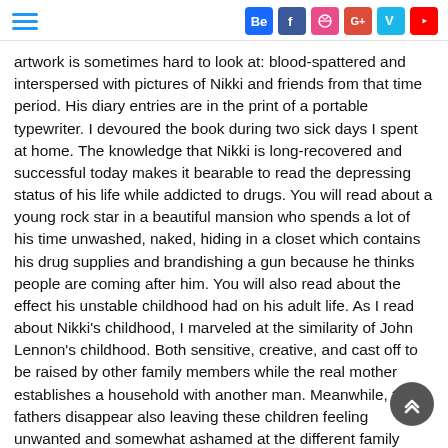Social icons: Behance, Facebook, Dribbble, Google+, Vine, YouTube; Hamburger menu
artwork is sometimes hard to look at: blood-spattered and interspersed with pictures of Nikki and friends from that time period. His diary entries are in the print of a portable typewriter. I devoured the book during two sick days I spent at home. The knowledge that Nikki is long-recovered and successful today makes it bearable to read the depressing status of his life while addicted to drugs. You will read about a young rock star in a beautiful mansion who spends a lot of his time unwashed, naked, hiding in a closet which contains his drug supplies and brandishing a gun because he thinks people are coming after him. You will also read about the effect his unstable childhood had on his adult life. As I read about Nikki's childhood, I marveled at the similarity of John Lennon's childhood. Both sensitive, creative, and cast off to be raised by other family members while the real mother establishes a household with another man. Meanwhile, the fathers disappear also leaving these children feeling unwanted and somewhat ashamed at the different family structure compared to other kids. As they grow older, they are driven by their art and the chips on their shoulders and get involved with drugs. They are successful, but it doesn't necessarily